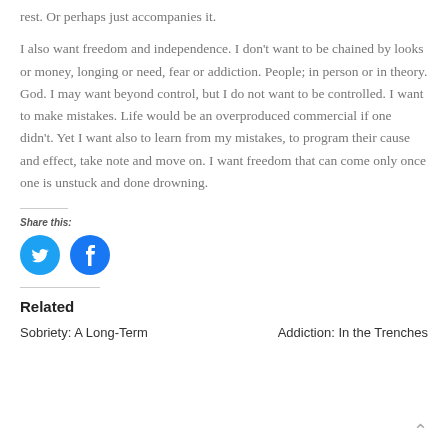rest. Or perhaps just accompanies it.
I also want freedom and independence. I don’t want to be chained by looks or money, longing or need, fear or addiction. People; in person or in theory. God. I may want beyond control, but I do not want to be controlled. I want to make mistakes. Life would be an overproduced commercial if one didn’t. Yet I want also to learn from my mistakes, to program their cause and effect, take note and move on. I want freedom that can come only once one is unstuck and done drowning.
Share this:
[Figure (other): Twitter and Facebook share icon buttons (blue circles with bird and f logos)]
Related
Sobriety: A Long-Term
Addiction: In the Trenches